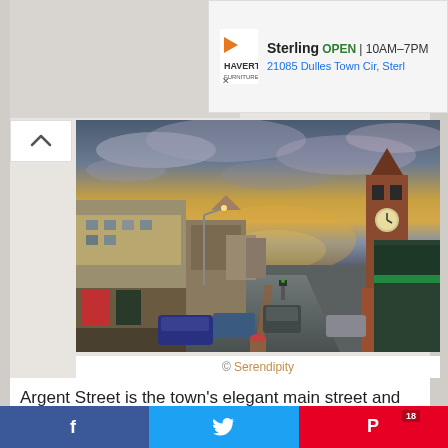[Figure (screenshot): Advertisement banner for Havertys Sterling store showing logo, OPEN badge, hours 10AM-7PM, and address 21085 Dulles Town Cir, Sterl]
[Figure (photo): Street-level photograph of Argent Street showing a wide main street at dusk/sunset with historic buildings on both sides, a clock tower visible on the right, cars parked and driving, warm sunset sky with clouds]
© Serendipity
Argent Street is the town's elegant main street and shows off how rich the town has been since